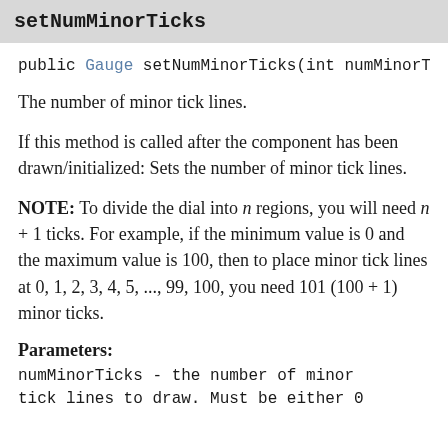setNumMinorTicks
public Gauge setNumMinorTicks(int numMinorT
The number of minor tick lines.
If this method is called after the component has been drawn/initialized: Sets the number of minor tick lines.
NOTE: To divide the dial into n regions, you will need n + 1 ticks. For example, if the minimum value is 0 and the maximum value is 100, then to place minor tick lines at 0, 1, 2, 3, 4, 5, ..., 99, 100, you need 101 (100 + 1) minor ticks.
Parameters:
numMinorTicks - the number of minor tick lines to draw. Must be either 0